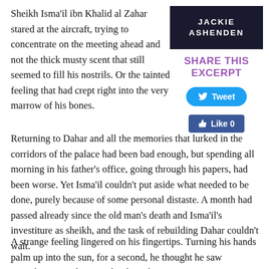Sheikh Isma'il ibn Khalid al Zahar stared at the aircraft, trying to concentrate on the meeting ahead and not the thick musty scent that still seemed to fill his nostrils. Or the tainted feeling that had crept right into the very marrow of his bones.
[Figure (other): Book cover with dark background and author name JACKIE ASHENDEN in white bold letters]
SHARE THIS EXCERPT
[Figure (other): Tweet button in blue with Twitter bird icon]
[Figure (other): Facebook Like button showing Like 0]
Returning to Dahar and all the memories that lurked in the corridors of the palace had been bad enough, but spending all morning in his father's office, going through his papers, had been worse. Yet Isma'il couldn't put aside what needed to be done, purely because of some personal distaste. A month had passed already since the old man's death and Isma'il's investiture as sheikh, and the task of rebuilding Dahar couldn't wait.
A strange feeling lingered on his fingertips. Turning his hands palm up into the sun, for a second, he thought he saw something. A red stain. Blood maybe?